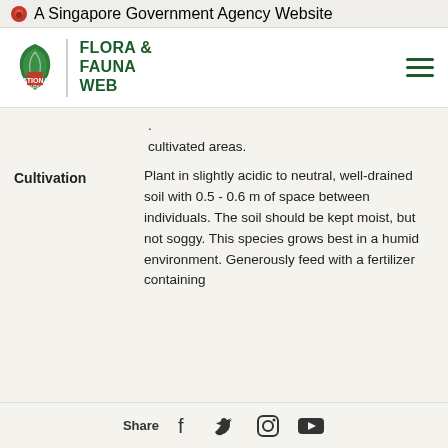A Singapore Government Agency Website
[Figure (logo): Flora & Fauna Web - National Parks Singapore logo with hamburger menu]
cultivated areas.
Cultivation
Plant in slightly acidic to neutral, well-drained soil with 0.5 - 0.6 m of space between individuals. The soil should be kept moist, but not soggy. This species grows best in a humid environment. Generously feed with a fertilizer containing
Share